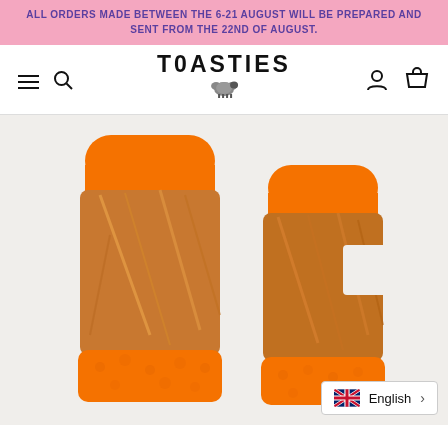ALL ORDERS MADE BETWEEN THE 6-21 AUGUST WILL BE PREPARED AND SENT FROM THE 22ND OF AUGUST.
TOASTIES
[Figure (screenshot): A pair of orange fingerless gloves with metallic gold/copper fur body and bright orange sherpa trim at the wrist, shown on a light grey background. Two gloves visible side by side.]
English